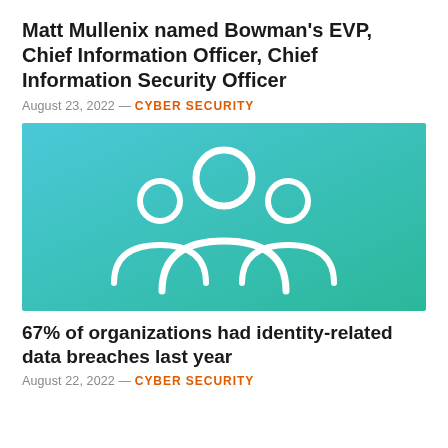Matt Mullenix named Bowman's EVP, Chief Information Officer, Chief Information Security Officer
August 23, 2022 — CYBER SECURITY
[Figure (illustration): Teal/turquoise gradient background with a white outline icon of three people (group/team silhouette) centered on the image.]
67% of organizations had identity-related data breaches last year
August 22, 2022 — CYBER SECURITY